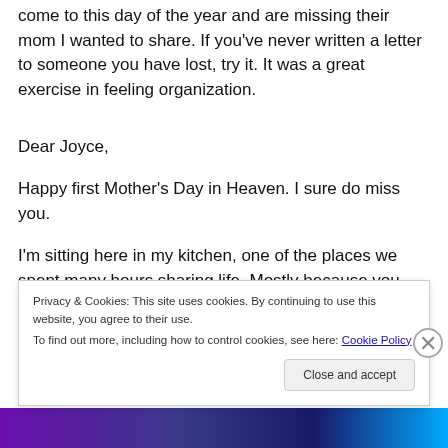come to this day of the year and are missing their mom I wanted to share. If you've never written a letter to someone you have lost, try it. It was a great exercise in feeling organization.
Dear Joyce,
Happy first Mother's Day in Heaven. I sure do miss you.
I'm sitting here in my kitchen, one of the places we spent many hours sharing life. Mostly because you always made
Privacy & Cookies: This site uses cookies. By continuing to use this website, you agree to their use.
To find out more, including how to control cookies, see here: Cookie Policy
Close and accept